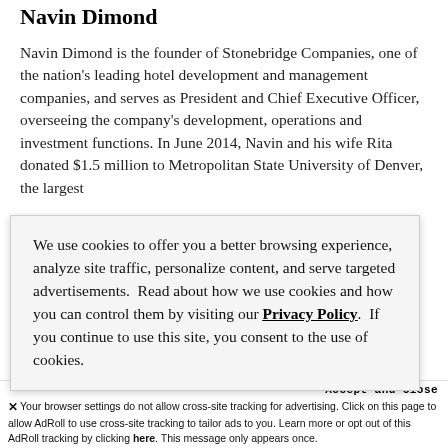Navin Dimond
Navin Dimond is the founder of Stonebridge Companies, one of the nation's leading hotel development and management companies, and serves as President and Chief Executive Officer, overseeing the company's development, operations and investment functions. In June 2014, Navin and his wife Rita donated $1.5 million to Metropolitan State University of Denver, the largest
We use cookies to offer you a better browsing experience, analyze site traffic, personalize content, and serve targeted advertisements.  Read about how we use cookies and how you can control them by visiting our Privacy Policy.  If you continue to use this site, you consent to the use of cookies.
Accept and Close
✕ Your browser settings do not allow cross-site tracking for advertising. Click on this page to allow AdRoll to use cross-site tracking to tailor ads to you. Learn more or opt out of this AdRoll tracking by clicking here. This message only appears once.